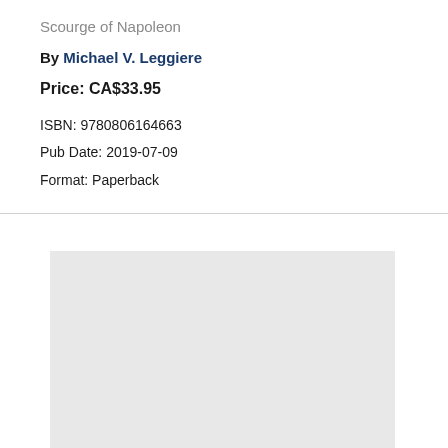Scourge of Napoleon
By Michael V. Leggiere
Price: CA$33.95
ISBN: 9780806164663
Pub Date: 2019-07-09
Format: Paperback
[Figure (photo): Placeholder image area (light gray rectangle representing a book cover image)]